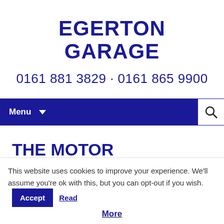EGERTON GARAGE
0161 881 3829 · 0161 865 9900
Menu
THE MOTOR OMBUDSMAN
Accreditation
This website uses cookies to improve your experience. We'll assume you're ok with this, but you can opt-out if you wish. Accept Read More